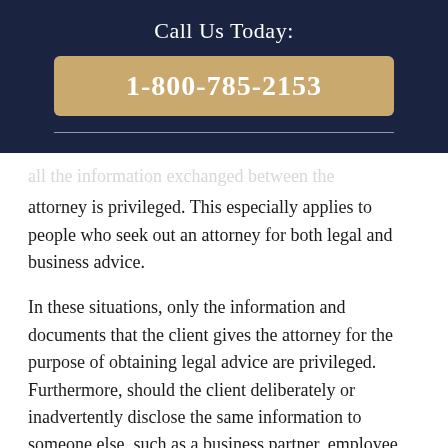Call Us Today:
1-800-785-2153
attorney is privileged. This especially applies to people who seek out an attorney for both legal and business advice.
In these situations, only the information and documents that the client gives the attorney for the purpose of obtaining legal advice are privileged. Furthermore, should the client deliberately or inadvertently disclose the same information to someone else, such as a business partner, employee, etc., (s)he thereby waives the privilege. Business clients likewise should know